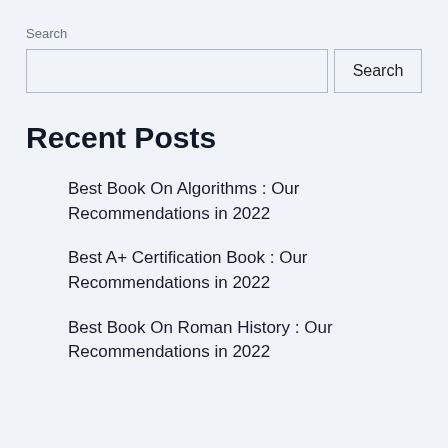Search
Search
Recent Posts
Best Book On Algorithms : Our Recommendations in 2022
Best A+ Certification Book : Our Recommendations in 2022
Best Book On Roman History : Our Recommendations in 2022